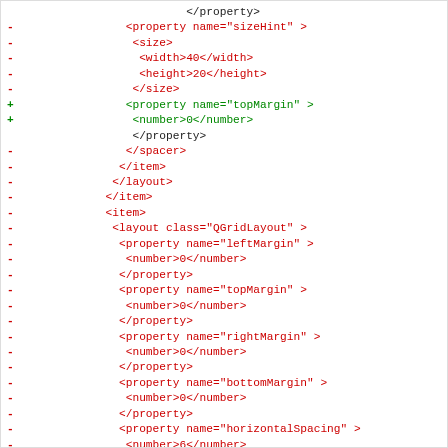Code diff showing XML property changes including sizeHint, topMargin, spacer, item, layout QGridLayout, leftMargin, topMargin, rightMargin, bottomMargin, horizontalSpacing, verticalSpacing elements